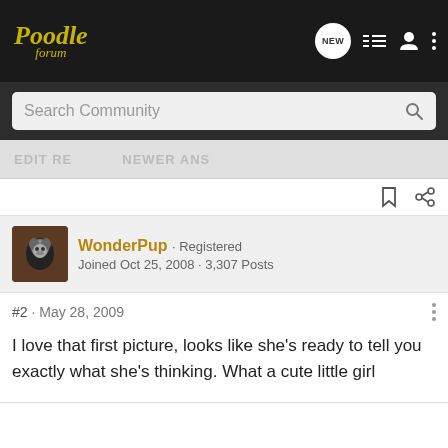Poodle forum
Search Community
WonderPup · Registered
Joined Oct 25, 2008 · 3,307 Posts
#2 · May 28, 2009
I love that first picture, looks like she's ready to tell you exactly what she's thinking. What a cute little girl